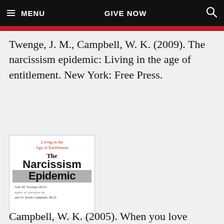MENU | GIVE NOW | (search icon)
Twenge, J. M., Campbell, W. K. (2009). The narcissism epidemic: Living in the age of entitlement. New York: Free Press.
[Figure (photo): Book cover of 'The Narcissism Epidemic: Living in the Age of Entitlement' by Jean M. Twenge, Ph.D. and W. Keith Campbell, Ph.D. The cover shows the subtitle in red text, the title in large bold black text, with 'Epidemic' overlaid on a gray band.]
Campbell, W. K. (2005). When you love